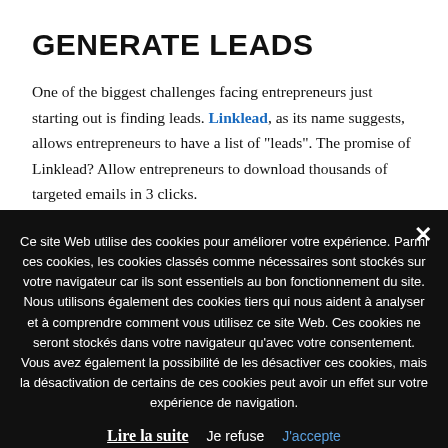GENERATE LEADS
One of the biggest challenges facing entrepreneurs just starting out is finding leads. Linklead, as its name suggests, allows entrepreneurs to have a list of “leads”. The promise of Linklead? Allow entrepreneurs to download thousands of targeted emails in 3 clicks.
Ce site Web utilise des cookies pour améliorer votre expérience. Parmi ces cookies, les cookies classés comme nécessaires sont stockés sur votre navigateur car ils sont essentiels au bon fonctionnement du site. Nous utilisons également des cookies tiers qui nous aident à analyser et à comprendre comment vous utilisez ce site Web. Ces cookies ne seront stockés dans votre navigateur qu'avec votre consentement. Vous avez également la possibilité de les désactiver ces cookies, mais la désactivation de certains de ces cookies peut avoir un effet sur votre expérience de navigation. Lire la suite   Je refuse   J'accepte   Personnaliser les Cookies